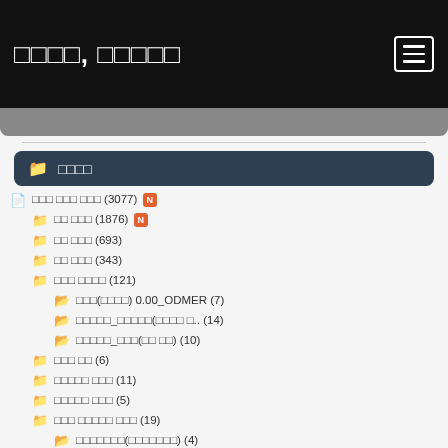□□□□, □□□□□
□□□□
□□□ □□□ □□□ (3077) N
□□ □□□ (1876) N
□□ □□□ (693)
□□ □□□ (343)
□□□ □□□□ (121)
□□□(□□□□) 0.00_ODMER (7)
□□□□□_□□□□□(□□□□ □.. (14)
□□□□□_□□□(□□ □□) (10)
□□□ □□ (6)
□□□□□ □□□ (11)
□□□□□ □□□ (5)
□□□ □□□□□ □□□ (19)
□□□□□□□(□□□□□□□) (4)
□□□□□ □□ (15)